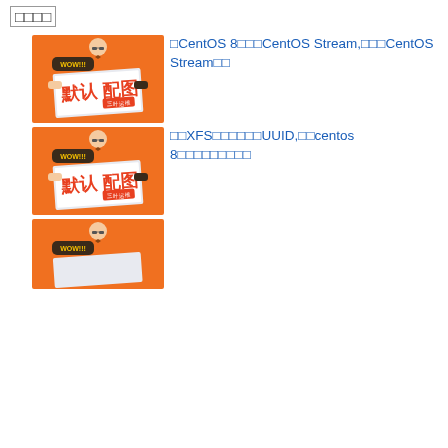□□□□
□CentOS 8□□□CentOS Stream,□□□CentOS Stream□□
[Figure (illustration): Orange illustrated card showing a person reading a newspaper with Chinese text 默认配图 and 三叶运维]
□□XFS□□□□□□UUID,□□centos 8□□□□□□□□□
[Figure (illustration): Orange illustrated card showing a person reading a newspaper with Chinese text 默认配图 and 三叶运维]
[Figure (illustration): Orange illustrated card (partially visible) showing a person reading a newspaper with Chinese text 默认配图 and WOW!!!]